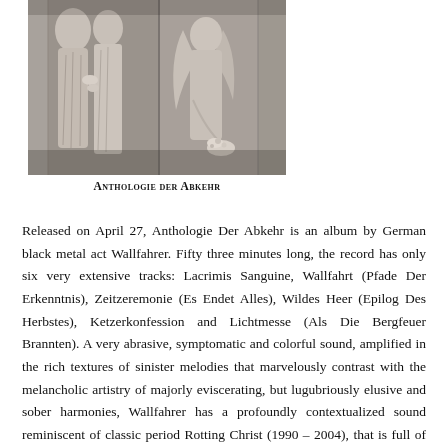[Figure (photo): Black and white photograph of classical sculptures showing draped figures, one appearing to be an angel with wings holding flowers, against a stone background. Album cover for Anthologie der Abkehr.]
Anthologie der Abkehr
Released on April 27, Anthologie Der Abkehr is an album by German black metal act Wallfahrer. Fifty three minutes long, the record has only six very extensive tracks: Lacrimis Sanguine, Wallfahrt (Pfade Der Erkenntnis), Zeitzeremonie (Es Endet Alles), Wildes Heer (Epilog Des Herbstes), Ketzerkonfession and Lichtmesse (Als Die Bergfeuer Brannten). A very abrasive, symptomatic and colorful sound, amplified in the rich textures of sinister melodies that marvelously contrast with the melancholic artistry of majorly eviscerating, but lugubriously elusive and sober harmonies, Wallfahrer has a profoundly contextualized sound reminiscent of classic period Rotting Christ (1990 – 2004), that is full of beautiful interludes and poetic equanimity. With a lucid sonority that perpetuates the everlasting dissension of a darkness that is lost in an indefinite dimension of lust and despair,